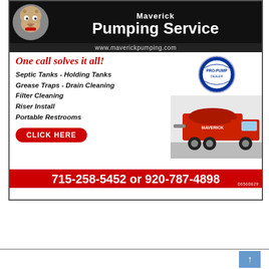[Figure (illustration): Maverick Pumping Service advertisement. Black header with bulldog mascot logo, company name 'Maverick Pumping Service', website www.maverickpumping.com. White body with red italic slogan 'One call solves it all!', list of services (Septic Tanks, Holding Tanks, Grease Traps, Drain Cleaning, Filter Cleaning, Riser Install, Portable Restrooms), PRO-PUMP certified badge, red pump truck photo, red CLICK HERE button. Red footer with phone numbers 715-258-5452 or 920-787-4898. Ad code 06560829.]
TAGS   WEYAUWEGA-FREMONT SOFTBALL